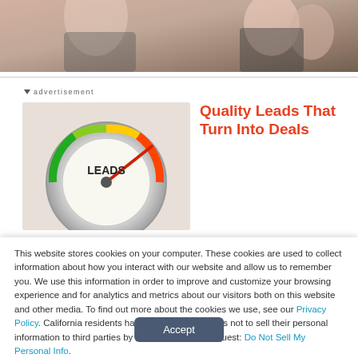[Figure (photo): Top banner photo showing people working with a tablet device, warm tones]
advertisement
[Figure (illustration): Speedometer/gauge graphic with 'LEADS' text, colored arc from green to red]
Quality Leads That Turn Into Deals
This website stores cookies on your computer. These cookies are used to collect information about how you interact with our website and allow us to remember you. We use this information in order to improve and customize your browsing experience and for analytics and metrics about our visitors both on this website and other media. To find out more about the cookies we use, see our Privacy Policy. California residents have the right to direct us not to sell their personal information to third parties by filing an Opt-Out Request: Do Not Sell My Personal Info.
Accept